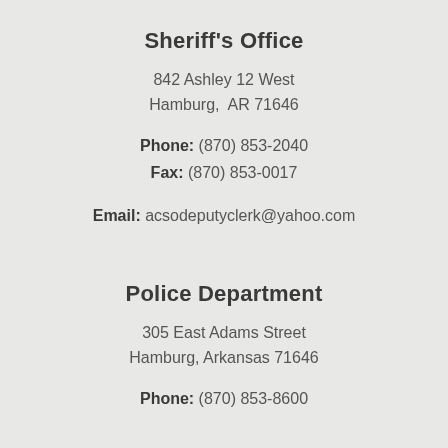Sheriff's Office
842 Ashley 12 West
Hamburg,  AR 71646
Phone: (870) 853-2040
Fax: (870) 853-0017
Email: acsodeputyclerk@yahoo.com
Police Department
305 East Adams Street
Hamburg, Arkansas 71646
Phone: (870) 853-8600